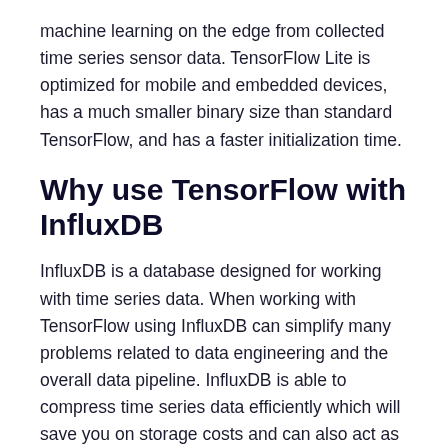machine learning on the edge from collected time series sensor data. TensorFlow Lite is optimized for mobile and embedded devices, has a much smaller binary size than standard TensorFlow, and has a faster initialization time.
Why use TensorFlow with InfluxDB
InfluxDB is a database designed for working with time series data. When working with TensorFlow using InfluxDB can simplify many problems related to data engineering and the overall data pipeline. InfluxDB is able to compress time series data efficiently which will save you on storage costs and can also act as a buffer when ingesting real-time data.
InfluxDB also improves the usability of your machine